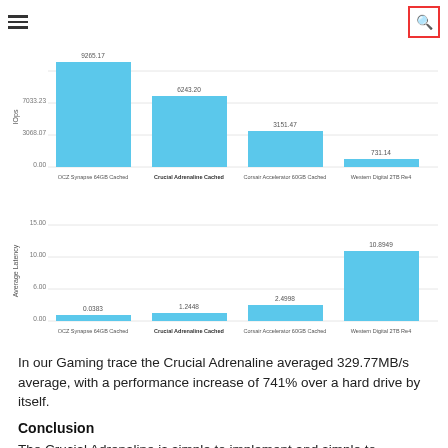Navigation header with hamburger menu and search icon
[Figure (bar-chart): IOps]
[Figure (bar-chart): Average Latency]
In our Gaming trace the Crucial Adrenaline averaged 329.77MB/s average, with a performance increase of 741% over a hard drive by itself.
Conclusion
The Crucial Adrenaline is simple to implement and simple to...